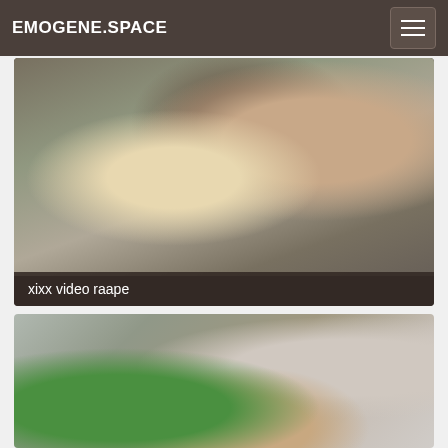EMOGENE.SPACE
[Figure (photo): Video thumbnail showing explicit adult content]
xixx video raape
[Figure (photo): Second video thumbnail showing explicit adult content]